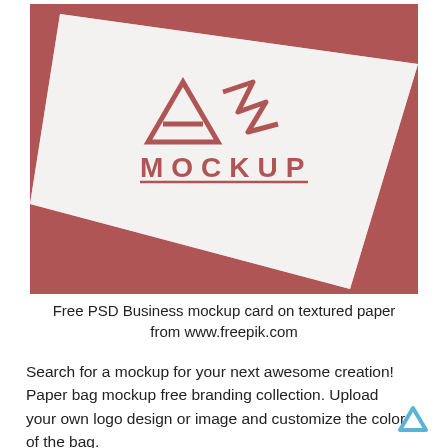[Figure (photo): A white textured business card with a red AF MOCKUP logo printed on it, placed on a red textured background at an angle.]
Free PSD Business mockup card on textured paper from www.freepik.com
Search for a mockup for your next awesome creation! Paper bag mockup free branding collection. Upload your own logo design or image and customize the color of the bag.